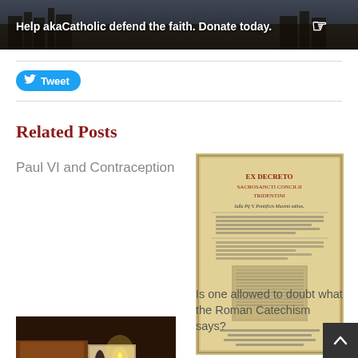[Figure (photo): Banner image promoting akaCatholic donations, with city/church background and text overlay]
[Figure (screenshot): Twitter Tweet button in blue with bird icon]
Related Posts
Paul VI and Contraception
[Figure (photo): Old book cover: Ex Decreto Sacrosancti Concilii Tridentini]
Is one allowed to doubt what the Roman Catechism says?
[Figure (photo): Dark photo of a candle and book]